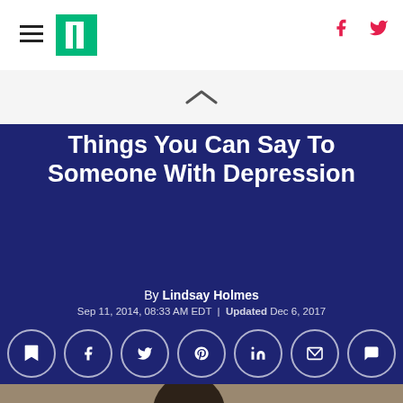HuffPost header with navigation, logo, and social icons (Facebook, Twitter)
Things You Can Say To Someone With Depression
By Lindsay Holmes
Sep 11, 2014, 08:33 AM EDT | Updated Dec 6, 2017
[Figure (infographic): Row of circular share icons: bookmark, Facebook, Twitter, Pinterest, LinkedIn, email, comment]
[Figure (photo): Silhouette of a person sitting with head down in a dejected posture, outdoor setting with light background]